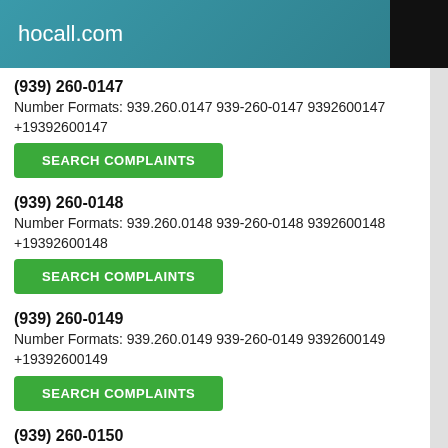hocall.com
(939) 260-0147
Number Formats: 939.260.0147 939-260-0147 9392600147 +19392600147
SEARCH COMPLAINTS
(939) 260-0148
Number Formats: 939.260.0148 939-260-0148 9392600148 +19392600148
SEARCH COMPLAINTS
(939) 260-0149
Number Formats: 939.260.0149 939-260-0149 9392600149 +19392600149
SEARCH COMPLAINTS
(939) 260-0150
Number Formats: 939.260.0150 939-260-0150 9392600150 +19392600150
SEARCH COMPLAINTS